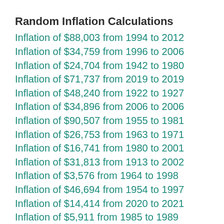Random Inflation Calculations
Inflation of $88,003 from 1994 to 2012
Inflation of $34,759 from 1996 to 2006
Inflation of $24,704 from 1942 to 1980
Inflation of $71,737 from 2019 to 2019
Inflation of $48,240 from 1922 to 1927
Inflation of $34,896 from 2006 to 2006
Inflation of $90,507 from 1955 to 1981
Inflation of $26,753 from 1963 to 1971
Inflation of $16,741 from 1980 to 2001
Inflation of $31,813 from 1913 to 2002
Inflation of $3,576 from 1964 to 1998
Inflation of $46,694 from 1954 to 1997
Inflation of $14,414 from 2020 to 2021
Inflation of $5,911 from 1985 to 1989
Inflation of $57,390 from 1956 to 1956
Inflation of $31,454 from 1986 to 2013